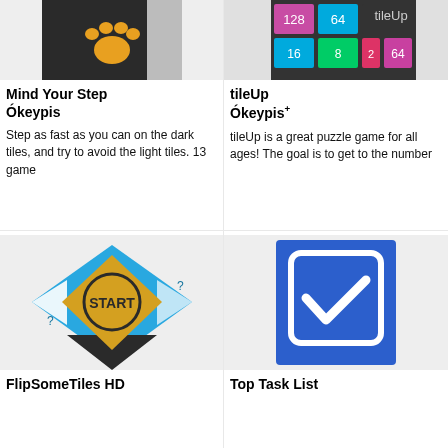[Figure (screenshot): App icon for Mind Your Step showing a paw print on dark background]
Mind Your Step Ókeypis
Step as fast as you can on the dark tiles, and try to avoid the light tiles. 13 game
[Figure (screenshot): App icon for tileUp showing numbered colored tiles grid with tileUp text]
tileUp Ókeypis+
tileUp is a great puzzle game for all ages! The goal is to get to the number
[Figure (screenshot): App icon for FlipSomeTiles HD showing a START button star shape with blue triangles]
FlipSomeTiles HD
[Figure (screenshot): App icon for Top Task List showing a blue checkbox with white checkmark]
Top Task List